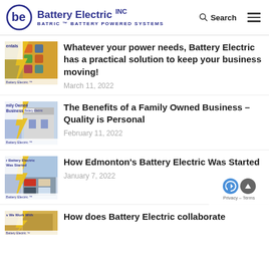Battery Electric INC — BATRIC™ BATTERY POWERED SYSTEMS | Search | Menu
[Figure (screenshot): Thumbnail image of battery/industrial equipment with yellow lightning bolt overlay and text 'entals' and 'Battery Electric' label]
Whatever your power needs, Battery Electric has a practical solution to keep your business moving!
March 11, 2022
[Figure (screenshot): Thumbnail image of Battery Electric building with yellow lightning bolt overlay and text 'Family Owned Business']
The Benefits of a Family Owned Business – Quality is Personal
February 11, 2022
[Figure (screenshot): Thumbnail image of Battery Electric premises with yellow lightning bolt overlay and text 'Battery Electric Was Started']
How Edmonton's Battery Electric Was Started
January 7, 2022
[Figure (screenshot): Thumbnail image partially visible with text 'We Work With']
How does Battery Electric collaborate